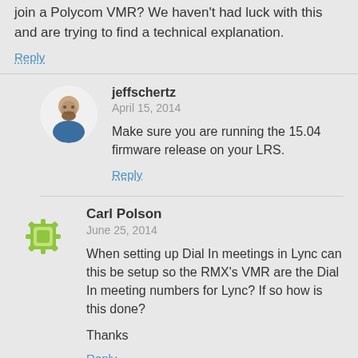join a Polycom VMR? We haven't had luck with this and are trying to find a technical explanation.
Reply
jeffschertz
April 15, 2014
Make sure you are running the 15.04 firmware release on your LRS.
Reply
Carl Polson
June 25, 2014
When setting up Dial In meetings in Lync can this be setup so the RMX's VMR are the Dial In meeting numbers for Lync? If so how is this done?
Thanks
Reply